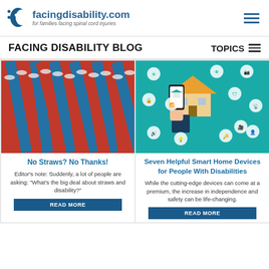facingdisability.com — for families facing spinal cord injuries
FACING DISABILITY BLOG
TOPICS
[Figure (photo): Close-up photo of red and blue plastic drinking straws bundled together]
No Straws? No Thanks!
Editor's note: Suddenly, a lot of people are asking: "What's the big deal about straws and disability?"
[Figure (illustration): Infographic illustration on teal background showing a hand holding a smartphone with a smart home app, surrounded by various smart home device icons (lock, camera, wifi, etc.) and a house graphic]
Seven Helpful Smart Home Devices for People With Disabilities
While the cutting-edge devices can come at a premium, the increase in independence and safety can be life-changing.